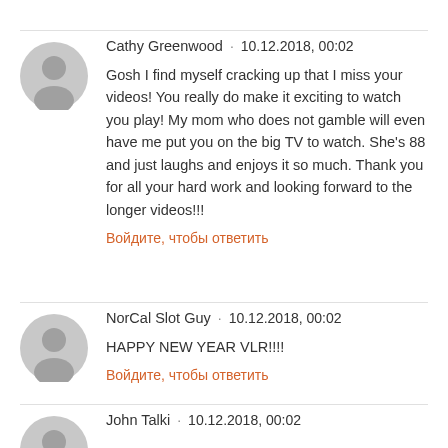Cathy Greenwood · 10.12.2018, 00:02
Gosh I find myself cracking up that I miss your videos! You really do make it exciting to watch you play! My mom who does not gamble will even have me put you on the big TV to watch. She's 88 and just laughs and enjoys it so much. Thank you for all your hard work and looking forward to the longer videos!!!
Войдите, чтобы ответить
NorCal Slot Guy · 10.12.2018, 00:02
HAPPY NEW YEAR VLR!!!!
Войдите, чтобы ответить
John Talki · 10.12.2018, 00:02